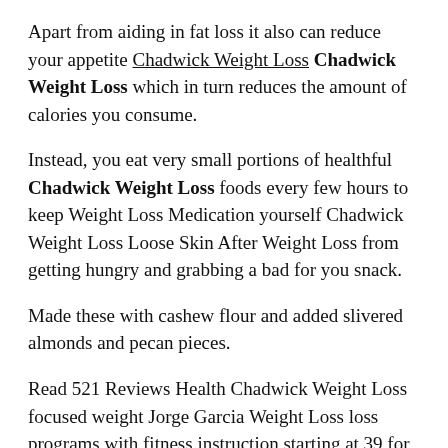Apart from aiding in fat loss it also can reduce your appetite Chadwick Weight Loss Chadwick Weight Loss which in turn reduces the amount of calories you consume.
Instead, you eat very small portions of healthful Chadwick Weight Loss foods every few hours to keep Weight Loss Medication yourself Chadwick Weight Loss Loose Skin After Weight Loss from getting hungry and grabbing a bad for you snack.
Made these with cashew flour and added slivered almonds and pecan pieces.
Read 521 Reviews Health Chadwick Weight Loss focused weight Jorge Garcia Weight Loss loss programs with fitness instruction starting at 39 for three months.